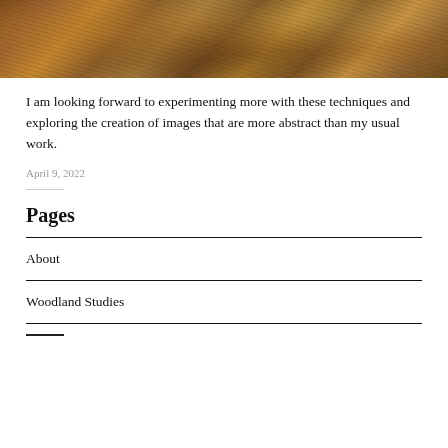[Figure (photo): Close-up photograph of autumn leaves on woodland ground, showing brown, orange, and tan leaf litter in an abstract pattern.]
I am looking forward to experimenting more with these techniques and exploring the creation of images that are more abstract than my usual work.
April 9, 2022
Pages
About
Woodland Studies